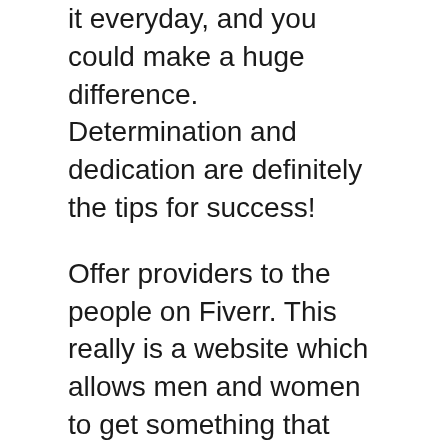it everyday, and you could make a huge difference. Determination and dedication are definitely the tips for success!
Offer providers to the people on Fiverr. This really is a website which allows men and women to get something that they really want from press style to campaigns to get a smooth amount of 5 dollars. There is a 1 buck fee for every support that you just sell, but should you do a higher quantity, the net profit may add up.
Consider the things you previously do, be they interests or duties, and look at how you can use all those abilities online. If one makes your children garments, make a pair of each and then sell on the excess on the